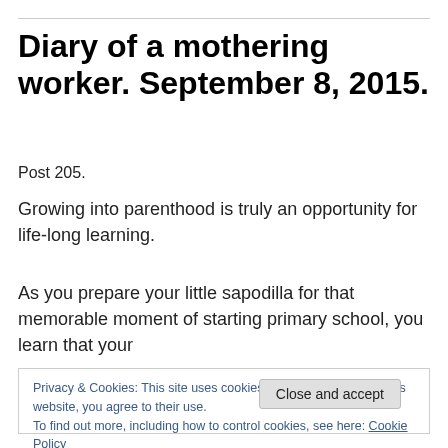Diary of a mothering worker. September 8, 2015.
Post 205.
Growing into parenthood is truly an opportunity for life-long learning.
As you prepare your little sapodilla for that memorable moment of starting primary school, you learn that your
Privacy & Cookies: This site uses cookies. By continuing to use this website, you agree to their use.
To find out more, including how to control cookies, see here: Cookie Policy
planned it so to be more environmentally conscious